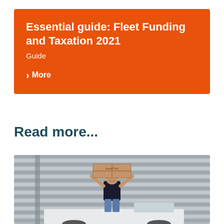Essential guide: Fleet Funding and Taxation 2021
Guide
> More
Read more...
[Figure (photo): A man sitting on top of a white van holding a box above his head, in front of a corrugated metal garage shutter/roller door, smiling.]